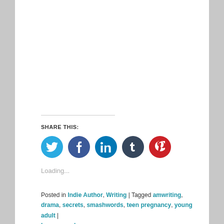SHARE THIS:
[Figure (infographic): Row of five social sharing icon buttons: Twitter (light blue circle), Facebook (dark blue circle), LinkedIn (teal/blue circle), Tumblr (dark navy circle), Pinterest (red circle), each with white icon symbol inside.]
Loading...
Posted in Indie Author, Writing | Tagged amwriting, drama, secrets, smashwords, teen pregnancy, young adult | Leave a reply